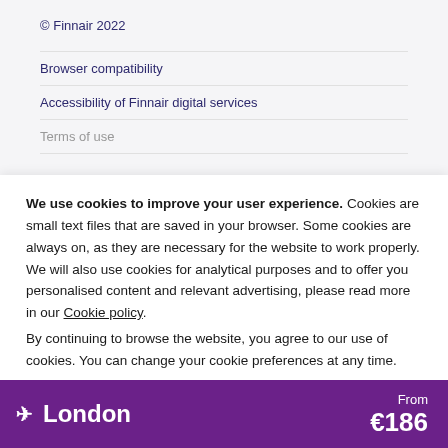© Finnair 2022
Browser compatibility
Accessibility of Finnair digital services
Terms of use
We use cookies to improve your user experience. Cookies are small text files that are saved in your browser. Some cookies are always on, as they are necessary for the website to work properly. We will also use cookies for analytical purposes and to offer you personalised content and relevant advertising, please read more in our Cookie policy.
By continuing to browse the website, you agree to our use of cookies. You can change your cookie preferences at any time.
Close
✈ London  From €186